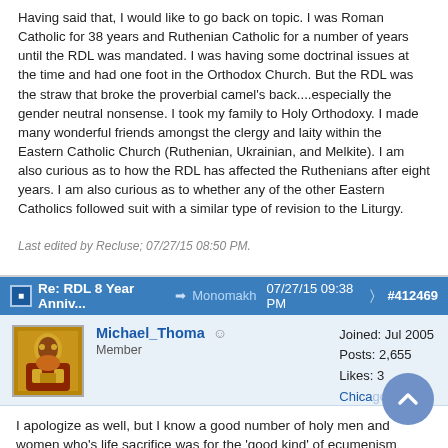Having said that, I would like to go back on topic. I was Roman Catholic for 38 years and Ruthenian Catholic for a number of years until the RDL was mandated. I was having some doctrinal issues at the time and had one foot in the Orthodox Church. But the RDL was the straw that broke the proverbial camel's back....especially the gender neutral nonsense. I took my family to Holy Orthodoxy. I made many wonderful friends amongst the clergy and laity within the Eastern Catholic Church (Ruthenian, Ukrainian, and Melkite). I am also curious as to how the RDL has affected the Ruthenians after eight years. I am also curious as to whether any of the other Eastern Catholics followed suit with a similar type of revision to the Liturgy.
Last edited by Recluse; 07/27/15 08:50 PM.
Re: RDL 8 Year Anniv... → Monomakh 07/27/15 09:38 PM ⋮ #412469
Michael_Thoma  Member  Joined: Jul 2005  Posts: 2,655  Likes: 3  Chicago
I apologize as well, but I know a good number of holy men and women who's life sacrifice was for the 'good kind' of ecumenism